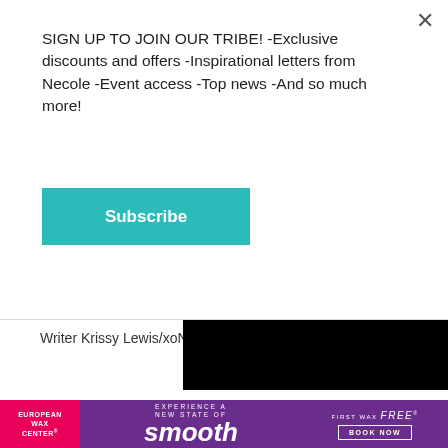SIGN UP TO JOIN OUR TRIBE! -Exclusive discounts and offers -Inspirational letters from Necole -Event access -Top news -And so much more!
Subscribe
[Figure (photo): A blue Neutrogena Hydro Boost moisturizer jar open, showing the blue gel product inside, on a light tan background]
[Figure (screenshot): Black video player panel with a white play button triangle in the center]
Writer Krissy Lewis/xoNe
[Figure (infographic): European Wax Center advertisement banner with pink left section logo, purple center reading 'experience a new state of smooth', and right section reading 'FIRST WAX free BOOK NOW']